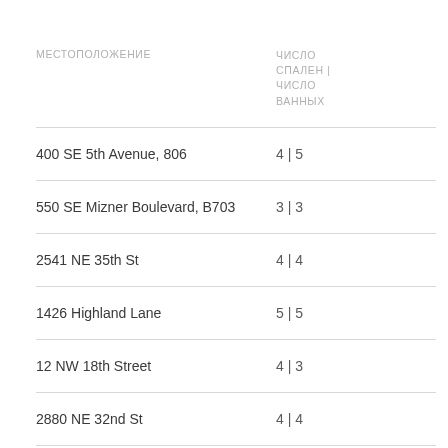| МЕСТОПОЛОЖЕНИЕ | ЧИСЛО СПАЛЕН | ЧИСЛО ВАННЫХ |
| --- | --- |
| 400 SE 5th Avenue, 806 | 4 | 5 |
| 550 SE Mizner Boulevard, B703 | 3 | 3 |
| 2541 NE 35th St | 4 | 4 |
| 1426 Highland Lane | 5 | 5 |
| 12 NW 18th Street | 4 | 3 |
| 2880 NE 32nd St | 4 | 4 |